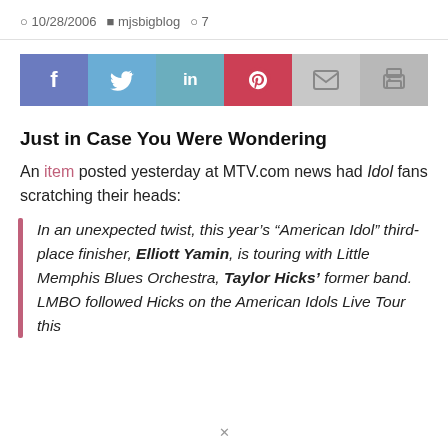10/28/2006  mjsbigblog  7
[Figure (infographic): Social sharing bar with buttons: Facebook (f), Twitter (bird), LinkedIn (in), Pinterest (p), Email (envelope), Print (printer)]
Just in Case You Were Wondering
An item posted yesterday at MTV.com news had Idol fans scratching their heads:
In an unexpected twist, this year's “American Idol” third-place finisher, Elliott Yamin, is touring with Little Memphis Blues Orchestra, Taylor Hicks’ former band. LMBO followed Hicks on the American Idols Live Tour this